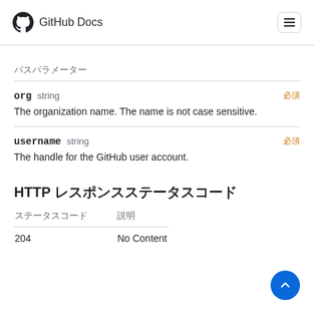GitHub Docs
パスパラメーター
org  string  必須
The organization name. The name is not case sensitive.
username  string  必須
The handle for the GitHub user account.
HTTP レスポンスステータスコード
| ステータスコード | 説明 |
| --- | --- |
| 204 | No Content |